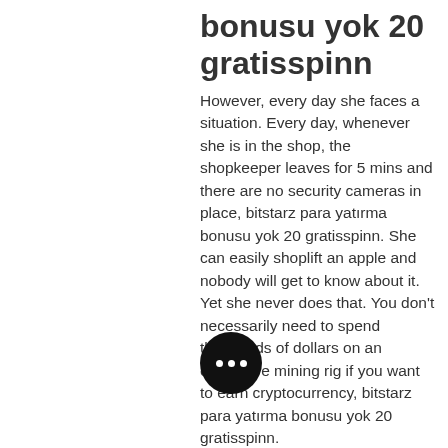bonusu yok 20 gratisspinn
However, every day she faces a situation. Every day, whenever she is in the shop, the shopkeeper leaves for 5 mins and there are no security cameras in place, bitstarz para yatırma bonusu yok 20 gratisspinn. She can easily shoplift an apple and nobody will get to know about it. Yet she never does that. You don't necessarily need to spend thousands of dollars on an expensive mining rig if you want to earn cryptocurrency, bitstarz para yatırma bonusu yok 20 gratisspinn.
If you like the reporting, video interviews and other ad-free content here, please take a moment to check out a sample of the video content supported by our sponsors, tweet your support , and keep coming back to ANGLE. Earn BTC With These High Bitcoin Faucets and Games in 2021 [Updated] Playing Bitcoin faucets in 2020